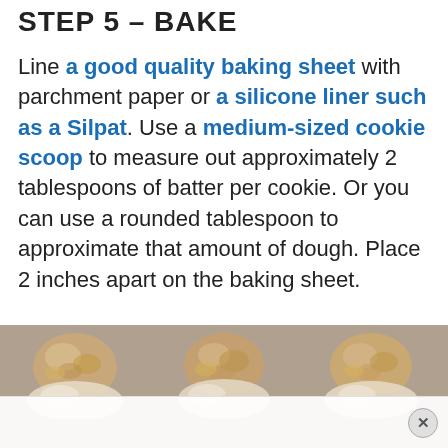STEP 5 – BAKE
Line a good quality baking sheet with parchment paper or a silicone liner such as a Silpat. Use a medium-sized cookie scoop to measure out approximately 2 tablespoons of batter per cookie. Or you can use a rounded tablespoon to approximate that amount of dough. Place 2 inches apart on the baking sheet.
[Figure (photo): Three cookie dough balls placed on a baking sheet lined with parchment or silicone liner, viewed from above. The cookies are raw and lumpy, with an oatmeal/coconut texture, shown against a grayish-tan background.]